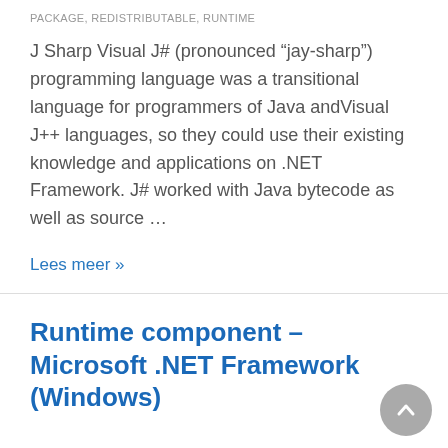PACKAGE, REDISTRIBUTABLE, RUNTIME
J Sharp Visual J# (pronounced “jay-sharp”) programming language was a transitional language for programmers of Java andVisual J++ languages, so they could use their existing knowledge and applications on .NET Framework. J# worked with Java bytecode as well as source …
Lees meer »
Runtime component – Microsoft .NET Framework (Windows)